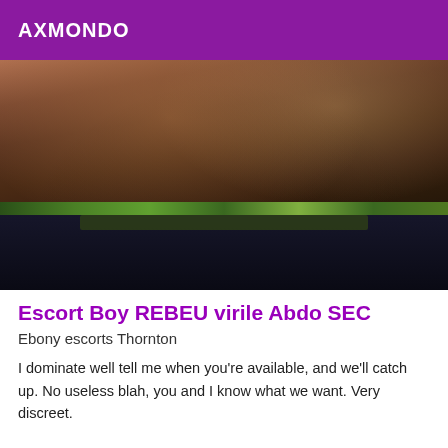AXMONDO
[Figure (photo): Torso photo of a muscular dark-skinned man with a defined abdomen, wearing dark shorts with a green waistband, left hand raised in a fist near his chest, photographed against a light background.]
Escort Boy REBEU virile Abdo SEC
Ebony escorts Thornton
I dominate well tell me when you're available, and we'll catch up. No useless blah, you and I know what we want. Very discreet.